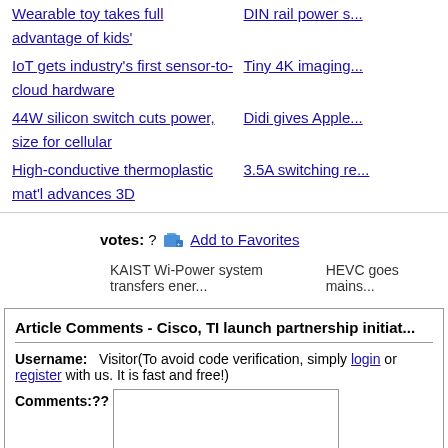Wearable toy takes full advantage of kids'
DIN rail power s...
IoT gets industry's first sensor-to-cloud hardware
Tiny 4K imaging...
44W silicon switch cuts power, size for cellular
Didi gives Apple...
High-conductive thermoplastic mat'l advances 3D
3.5A switching re...
votes: ? Add to Favorites
KAIST Wi-Power system transfers ener...
HEVC goes mains...
Article Comments - Cisco, TI launch partnership initiat...
Username: Visitor(To avoid code verification, simply login or register with us. It is fast and free!)
Comments:??
*? You can enter [0] more charecters.
*Verify code: